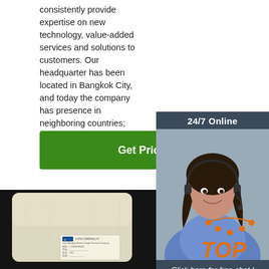consistently provide expertise on new technology, value-added services and solutions to customers. Our headquarter has been located in Bangkok City, and today the company has presence in neighboring countries; Cambodia, Myanmar and ...
[Figure (other): Green 'Get Price' button]
[Figure (other): Sidebar with '24/7 Online' header, customer service representative photo, 'Click here for free chat!' text, and orange QUOTATION button]
[Figure (photo): Product photo of a sealed bag of white powder on black background with a label in Chinese and English, with company branding]
[Figure (logo): TOP logo with orange arc/hat icon above text]